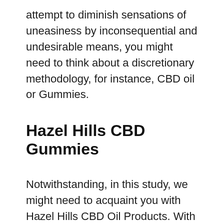attempt to diminish sensations of uneasiness by inconsequential and undesirable means, you might need to think about a discretionary methodology, for instance, CBD oil or Gummies.
Hazel Hills CBD Gummies
Notwithstanding, in this study, we might need to acquaint you with Hazel Hills CBD Oil Products. With this totally lawful and safe plan, you can encounter pressure alleviation and a wide range of benefits. Hazel Hills CBD Gummies is